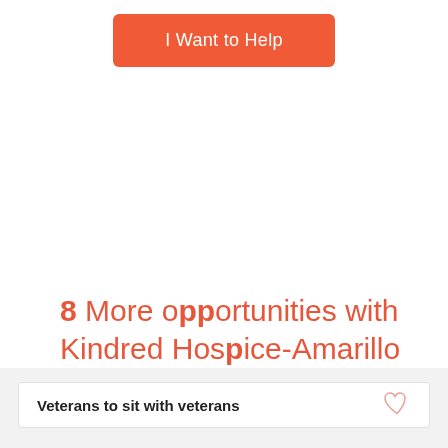I Want to Help
8 More opportunities with Kindred Hospice-Amarillo
Veterans to sit with veterans